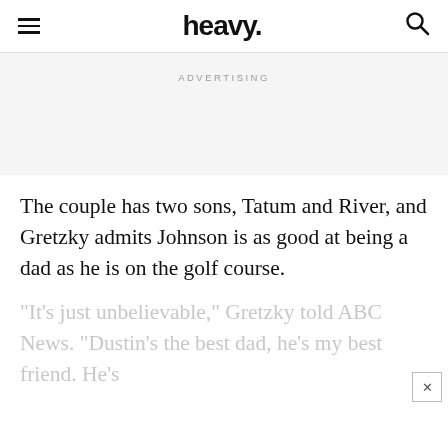heavy.
ADVERTISING
The couple has two sons, Tatum and River, and Gretzky admits Johnson is as good at being a dad as he is on the golf course.
“It’s just unbelievable,” Gretzky told ABC News. “Dustin’s the best dad, he’s my best friend. He’s